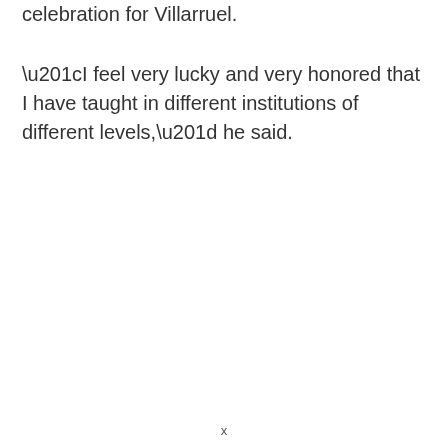celebration for Villarruel.
“I feel very lucky and very honored that I have taught in different institutions of different levels,” he said.